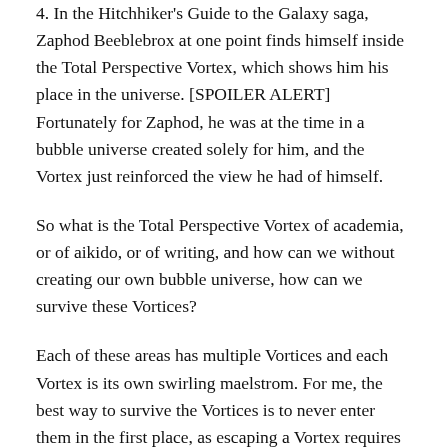4. In the Hitchhiker's Guide to the Galaxy saga, Zaphod Beeblebrox at one point finds himself inside the Total Perspective Vortex, which shows him his place in the universe. [SPOILER ALERT] Fortunately for Zaphod, he was at the time in a bubble universe created solely for him, and the Vortex just reinforced the view he had of himself.
So what is the Total Perspective Vortex of academia, or of aikido, or of writing, and how can we without creating our own bubble universe, how can we survive these Vortices?
Each of these areas has multiple Vortices and each Vortex is its own swirling maelstrom. For me, the best way to survive the Vortices is to never enter them in the first place, as escaping a Vortex requires navigating a labyrinth, and we may not have been unspooling the